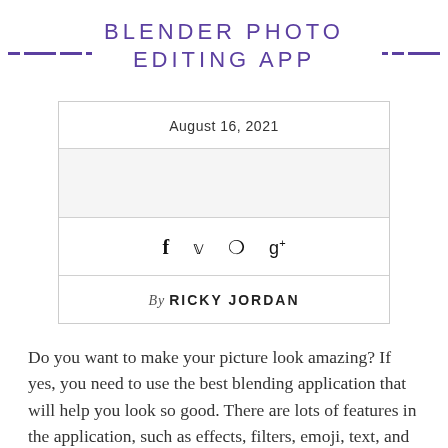BLENDER PHOTO EDITING APP
| Date | Image | Icons | Author |
| --- | --- | --- | --- |
| August 16, 2021 |  | f  ❧  ℗  g+ | By RICKY JORDAN |
Do you want to make your picture look amazing? If yes, you need to use the best blending application that will help you look so good. There are lots of features in the application, such as effects, filters, emoji, text, and many